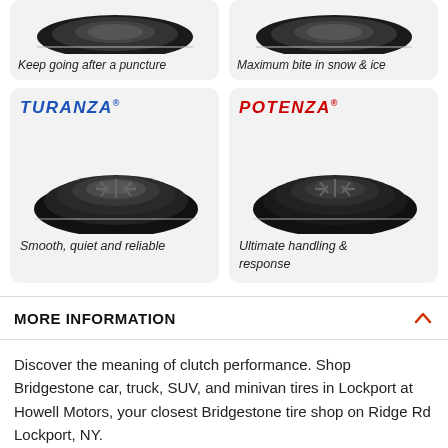[Figure (illustration): Two tire product cards at top (partially visible): left card shows a tire with caption 'Keep going after a puncture', right card shows a tire with caption 'Maximum bite in snow & ice']
[Figure (illustration): TURANZA tire card with blue italic TURANZA logo and a car tire image]
Smooth, quiet and reliable
[Figure (illustration): POTENZA tire card with red italic POTENZA logo and a car tire image]
Ultimate handling & response
MORE INFORMATION
Discover the meaning of clutch performance. Shop Bridgestone car, truck, SUV, and minivan tires in Lockport at Howell Motors, your closest Bridgestone tire shop on Ridge Rd Lockport, NY.